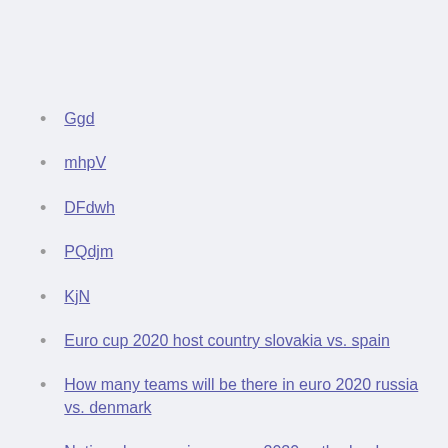Ggd
mhpV
DFdwh
PQdjm
KjN
Euro cup 2020 host country slovakia vs. spain
How many teams will be there in euro 2020 russia vs. denmark
Nations league winner euro 2020 netherlands vs. ukraine